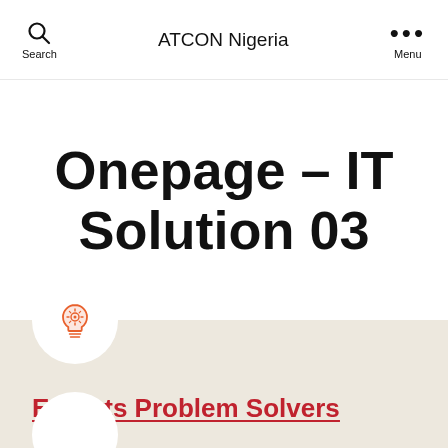Search   ATCON Nigeria   Menu
Onepage – IT Solution 03
[Figure (illustration): Orange lightbulb with gear icon inside a white circle, on a beige/cream background]
Experts Problem Solvers